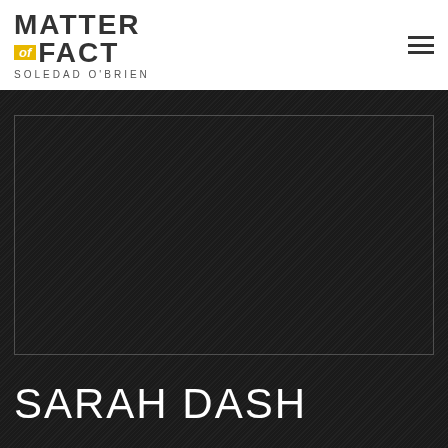Matter of Fact with Soledad O'Brien
[Figure (screenshot): Dark textured background with a rectangular border outline and a large title 'SARAH DASH' at the bottom]
SARAH DASH